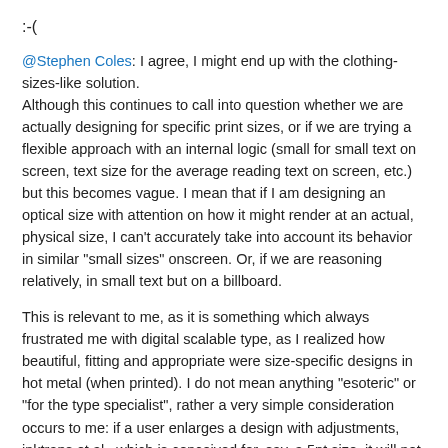:-(
@Stephen Coles: I agree, I might end up with the clothing-sizes-like solution.
Although this continues to call into question whether we are actually designing for specific print sizes, or if we are trying a flexible approach with an internal logic (small for small text on screen, text size for the average reading text on screen, etc.) but this becomes vague. I mean that if I am designing an optical size with attention on how it might render at an actual, physical size, I can't accurately take into account its behavior in similar "small sizes" onscreen. Or, if we are reasoning relatively, in small text but on a billboard.
This is relevant to me, as it is something which always frustrated me with digital scalable type, as I realized how beautiful, fitting and appropriate were size-specific designs in hot metal (when printed). I do not mean anything "esoteric" or "for the type specialist", rather a very simple consideration occurs to me: if a user enlarges a design with adjustments, inktraps et al., which is conceived for, say, a 5pt size, it will not look so great when printed in 72pt size (or